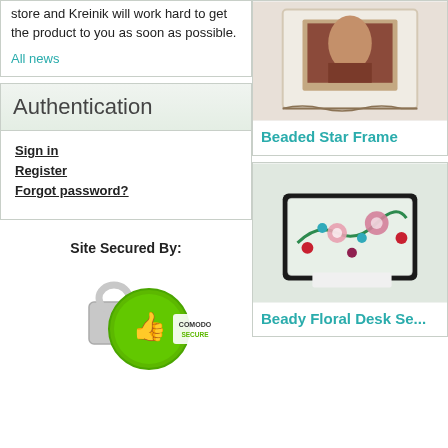store and Kreinik will work hard to get the product to you as soon as possible.
All news
Authentication
Sign in
Register
Forgot password?
Site Secured By:
[Figure (logo): Comodo Secure badge - green circular seal with thumbs up icon and 'COMODO SECURE' text]
[Figure (photo): Beaded Star Frame craft item photo]
Beaded Star Frame
[Figure (photo): Beady Floral Desk Set craft item photo]
Beady Floral Desk Se...